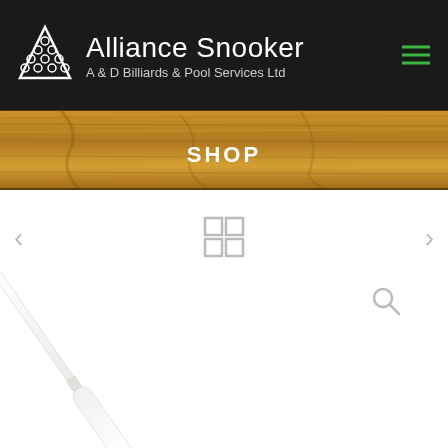Alliance Snooker – A & D Billiards & Pool Services Ltd
SHOP
[Figure (screenshot): A white snooker/billiards cue shown diagonally from upper-left to lower-right against a white background, with a navigation interface showing left/right arrows, a grid view icon, and a magnify/zoom icon.]